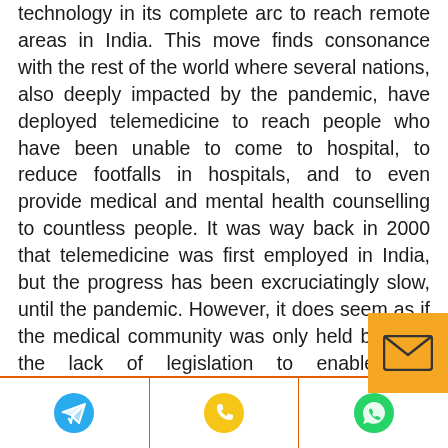technology in its complete arc to reach remote areas in India. This move finds consonance with the rest of the world where several nations, also deeply impacted by the pandemic, have deployed telemedicine to reach people who have been unable to come to hospital, to reduce footfalls in hospitals, and to even provide medical and mental health counselling to countless people. It was way back in 2000 that telemedicine was first employed in India, but the progress has been excruciatingly slow, until the pandemic. However, it does seem as if the medical community was only held back by the lack of legislation to enable tele consultations. For no sooner was the policy announced, than hospitals and clinicians hurried to jump onto the bandwagon, advertising contact information for patients. The advantages are peculiar in the current context, when putting distance between people paramount, as tele consultations are not barre...
[Figure (other): Orange email/envelope button overlay in bottom-right area]
[Figure (other): Bottom navigation bar with three icons: Telegram (blue circle), phone/call (yellow circle), WhatsApp (green circle), separated by orange vertical dividers]